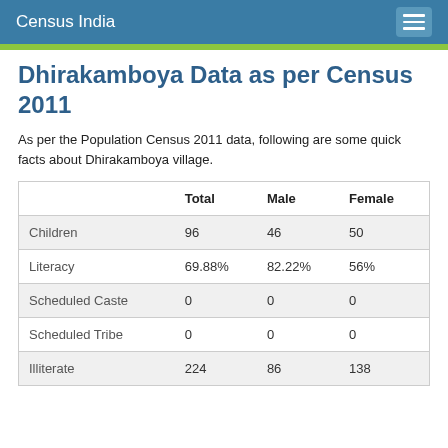Census India
Dhirakamboya Data as per Census 2011
As per the Population Census 2011 data, following are some quick facts about Dhirakamboya village.
|  | Total | Male | Female |
| --- | --- | --- | --- |
| Children | 96 | 46 | 50 |
| Literacy | 69.88% | 82.22% | 56% |
| Scheduled Caste | 0 | 0 | 0 |
| Scheduled Tribe | 0 | 0 | 0 |
| Illiterate | 224 | 86 | 138 |